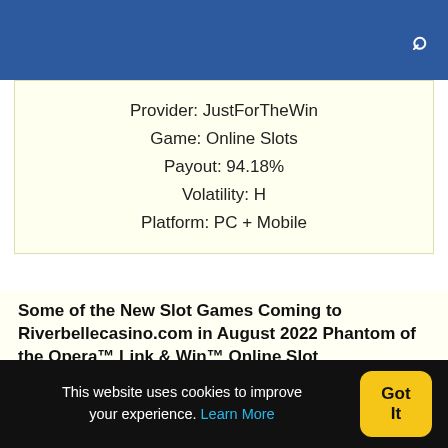Provider: JustForTheWin
Game: Online Slots
Payout: 94.18%
Volatility: H
Platform: PC + Mobile
Some of the New Slot Games Coming to Riverbellecasino.com in August 2022 Phantom of the Opera™ Link & Win™ Online Slot
Release Date: 30/08/2022
Provider: Triple Edge Studios
Payout: 94.08%
This website uses cookies to improve your experience. Learn More Got It